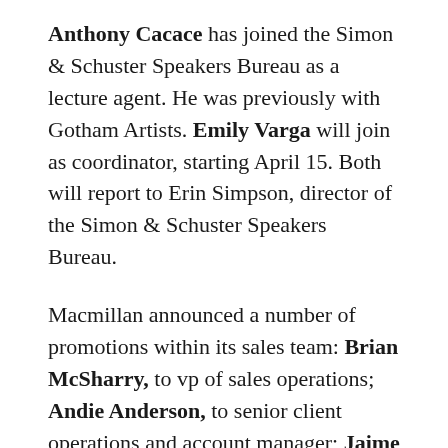Anthony Cacace has joined the Simon & Schuster Speakers Bureau as a lecture agent. He was previously with Gotham Artists. Emily Varga will join as coordinator, starting April 15. Both will report to Erin Simpson, director of the Simon & Schuster Speakers Bureau.
Macmillan announced a number of promotions within its sales team: Brian McSharry, to vp of sales operations; Andie Anderson, to senior client operations and account manager; Jaime Bode, to national accounts manager; Vanessa Torres, to assistant client account manager; Eunice Pak, to national accounts sales coordinator; Kristen Bonanno, to national accounts sales coordinator; Emily Day, to